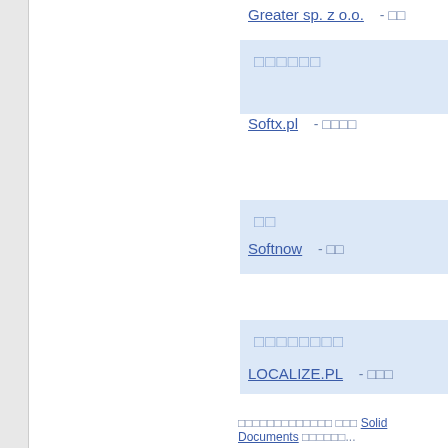Greater sp. z o.o.  - □□
□□□□□□
Softx.pl  - □□□□
□□
Softnow  - □□
□□□□□□□□
LOCALIZE.PL  - □□□
□□□□□□□□□□□□□ □□□ Solid Documents □□□□□□□...